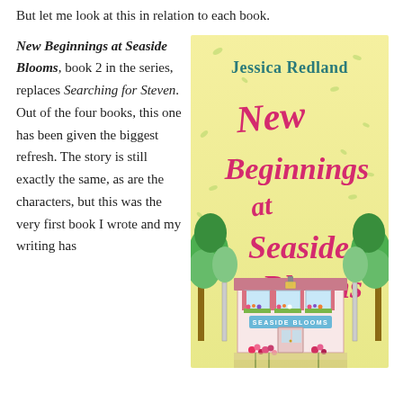But let me look at this in relation to each book.
New Beginnings at Seaside Blooms, book 2 in the series, replaces Searching for Steven. Out of the four books, this one has been given the biggest refresh. The story is still exactly the same, as are the characters, but this was the very first book I wrote and my writing has
[Figure (illustration): Book cover of 'New Beginnings at Seaside Blooms' by Jessica Redland. Yellow background with handwritten-style pink title text, a pink flower shop building at the bottom, trees on either side, and decorative floral elements.]